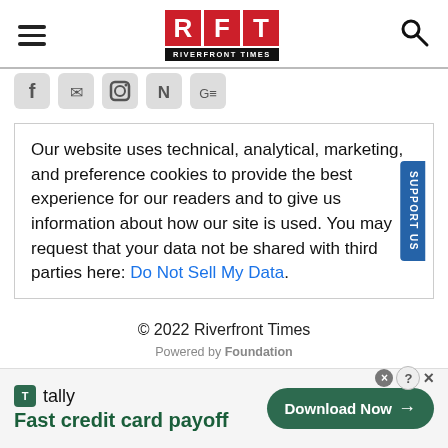RFT RIVERFRONT TIMES
[Figure (logo): Social media icons: Facebook, Twitter/email, Instagram, Reddit/N, Google]
Our website uses technical, analytical, marketing, and preference cookies to provide the best experience for our readers and to give us information about how our site is used. You may request that your data not be shared with third parties here: Do Not Sell My Data.
© 2022 Riverfront Times
Powered by Foundation
[Figure (infographic): Tally advertisement banner: 'Fast credit card payoff' with Download Now button]